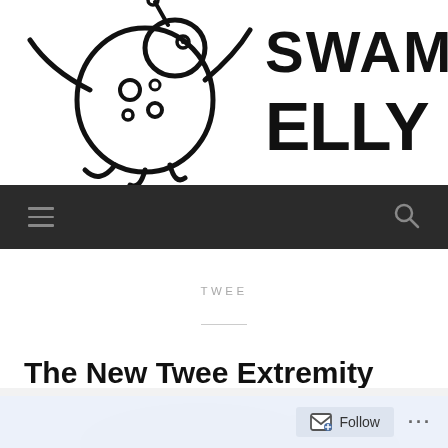[Figure (logo): Swamp Elly blog logo — black hand-drawn cartoon creature with tentacles and spots next to bold hand-lettered text reading SWAMP ELLY]
Navigation bar with hamburger menu icon and search icon
TWEE
The New Twee Extremity
AUGUST 23, 2022 / LEAVE A COMMENT
[Figure (photo): Partially visible image at the bottom of the page, appears to be a light-colored photo or illustration]
Follow ...